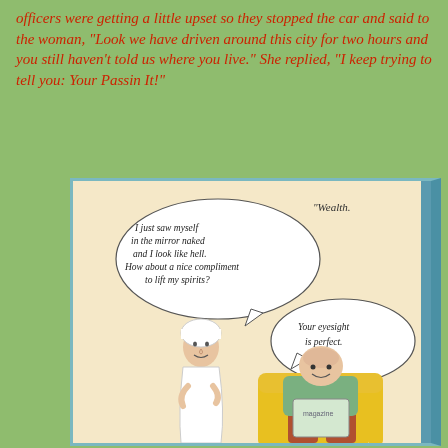officers were getting a little upset so they stopped the car and said to the woman, "Look we have driven around this city for two hours and you still haven't told us where you live." She replied, "I keep trying to tell you: Your Passin It!"
[Figure (illustration): A cartoon showing an elderly woman wrapped in a towel speaking to an elderly man seated in a yellow armchair reading a magazine. Speech bubble from woman: 'I just saw myself in the mirror naked and I look like hell. How about a nice compliment to lift my spirits?' Speech bubble from man: 'Your eyesight is perfect.' Signed 'Wealth.' in upper right.]